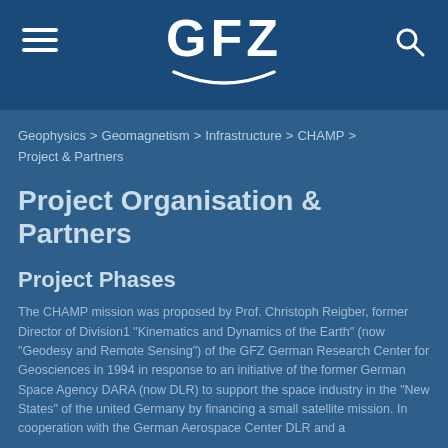[Figure (logo): GFZ logo with text GFZ in bold white and an arc/swoosh beneath, on dark blue header bar. Hamburger menu icon on left, search icon on right.]
Geophysics > Geomagnetism > Infrastructure > CHAMP > Project & Partners
Project Organisation & Partners
Project Phases
The CHAMP mission was proposed by Prof. Christoph Reigber, former Director of Division1 "Kinematics and Dynamics of the Earth" (now "Geodesy and Remote Sensing") of the GFZ German Research Center for Geosciences in 1994 in response to an initiative of the former German Space Agency DARA (now DLR) to support the space industry in the "New States" of the united Germany by financing a small satellite mission. In cooperation with the German Aerospace Center DLR and a